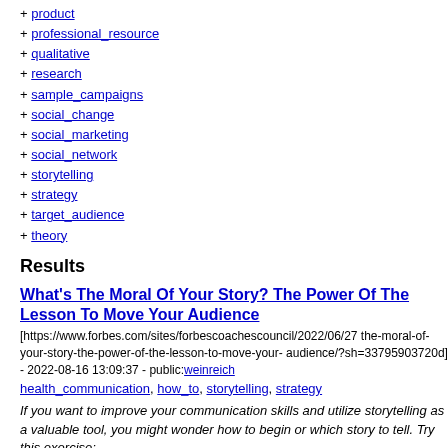+ product
+ professional_resource
+ qualitative
+ research
+ sample_campaigns
+ social_change
+ social_marketing
+ social_network
+ storytelling
+ strategy
+ target_audience
+ theory
Results
What's The Moral Of Your Story? The Power Of The Lesson To Move Your Audience
[https://www.forbes.com/sites/forbescoachescouncil/2022/06/27the-moral-of-your-story-the-power-of-the-lesson-to-move-your-audience/?sh=33795903720d] - 2022-08-16 13:09:37 - public:weinreich
health_communication, how_to, storytelling, strategy
If you want to improve your communication skills and utilize storytelling as a valuable tool, you might wonder how to begin or which story to tell. Try this exercise: